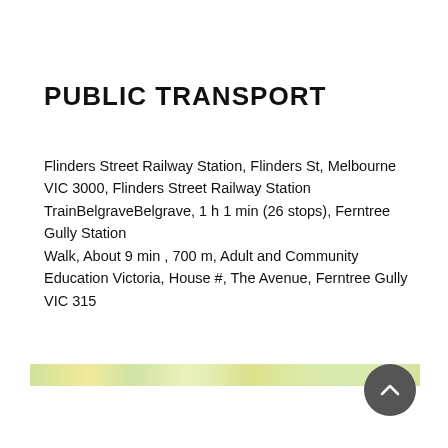PUBLIC TRANSPORT
Flinders Street Railway Station, Flinders St, Melbourne VIC 3000, Flinders Street Railway Station TrainBelgraveBelgrave, 1 h 1 min (26 stops), Ferntree Gully Station Walk, About 9 min , 700 m, Adult and Community Education Victoria, House #, The Avenue, Ferntree Gully VIC 315
[Figure (map): A thin horizontal strip showing a Google Maps view of the route from Flinders Street Railway Station to Ferntree Gully.]